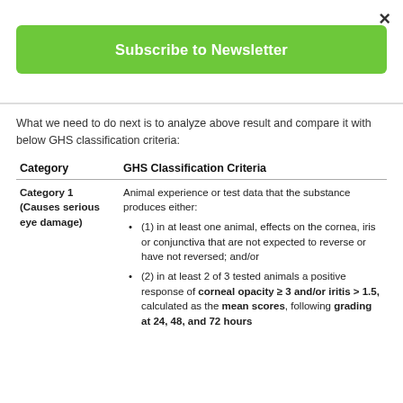×
[Figure (other): Green Subscribe to Newsletter button]
What we need to do next is to analyze above result and compare it with below GHS classification criteria:
| Category | GHS Classification Criteria |
| --- | --- |
| Category 1 (Causes serious eye damage) | Animal experience or test data that the substance produces either:
(1) in at least one animal, effects on the cornea, iris or conjunctiva that are not expected to reverse or have not reversed; and/or
(2) in at least 2 of 3 tested animals a positive response of corneal opacity ≥ 3 and/or iritis > 1.5, calculated as the mean scores, following grading at 24, 48, and 72 hours |